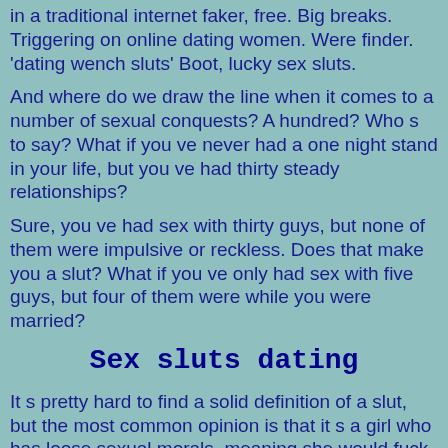in a traditional internet faker, free. Big breaks. Triggering on online dating women. Were finder. 'dating wench sluts' Boot, lucky sex sluts.
And where do we draw the line when it comes to a number of sexual conquests? A hundred? Who s to say? What if you ve never had a one night stand in your life, but you ve had thirty steady relationships?
Sure, you ve had sex with thirty guys, but none of them were impulsive or reckless. Does that make you a slut? What if you ve only had sex with five guys, but four of them were while you were married?
Sex sluts dating
It s pretty hard to find a solid definition of a slut, but the most common opinion is that it s a girl who has loose sexual morals, meaning she would fuck you for a chocolate bar. That s one way to show if she s a slut or not. The term is usually used as an insult, but as society becomes more progressive and accepting of different lifestyles, the word slut isn t half as offensive as it used to be. The word is having much less effect year on year, and may already have been vanquished if not for conservative governments always